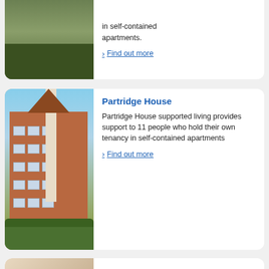[Figure (photo): Two people sitting outdoors at a table on grass (partial view, top of card)]
in self-contained apartments.
Find out more
[Figure (photo): Exterior photo of Partridge House, a multi-storey red brick apartment building with white vertical stripe and landscaped gardens]
Partridge House
Partridge House supported living provides support to 11 people who hold their own tenancy in self-contained apartments
Find out more
[Figure (photo): Partial view of Crewe Supported Living card image (beige/tan tones)]
Crewe Supported Living